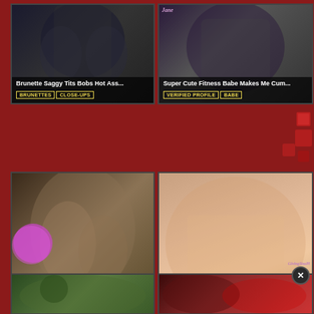[Figure (photo): Brunette saggy tits bobs hot ass thumbnail card with tags BRUNETTES, CLOSE-UPS]
[Figure (photo): Super Cute Fitness Babe Makes Me Cum thumbnail card with watermark Jane, tags VERIFIED PROFILE, BABE]
[Figure (photo): Big Firm Ass Chubby Cameltoe Pussy thumbnail card with tags BABES, CLOSE-UPS, NIPPLES, BIG]
[Figure (photo): Busty Solo Playing Hottie Rubs Pussy thumbnail card with watermark GivingYouPl, tags MASTURBATION, MASTURBATING, and close X button]
[Figure (photo): Bottom left partial thumbnail card]
[Figure (photo): Bottom right partial thumbnail card]